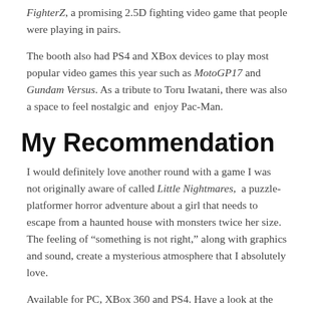FighterZ, a promising 2.5D fighting video game that people were playing in pairs.
The booth also had PS4 and XBox devices to play most popular video games this year such as MotoGP17 and Gundam Versus. As a tribute to Toru Iwatani, there was also a space to feel nostalgic and enjoy Pac-Man.
My Recommendation
I would definitely love another round with a game I was not originally aware of called Little Nightmares, a puzzle-platformer horror adventure about a girl that needs to escape from a haunted house with monsters twice her size. The feeling of “something is not right,” along with graphics and sound, create a mysterious atmosphere that I absolutely love.
Available for PC, XBox 360 and PS4. Have a look at the